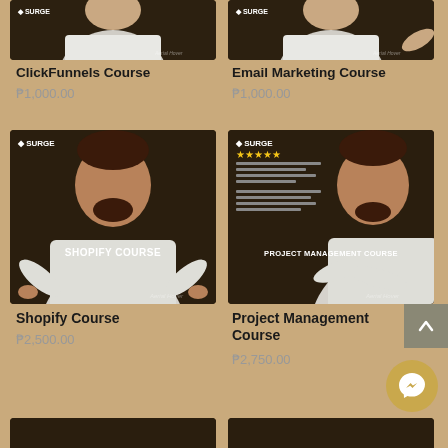[Figure (photo): Top portion of ClickFunnels Course image - man in white t-shirt on dark background with SURGE logo]
ClickFunnels Course
₱1,000.00
[Figure (photo): Top portion of Email Marketing Course image - man in white t-shirt on dark background with SURGE logo]
Email Marketing Course
₱1,000.00
[Figure (photo): Shopify Course promotional image with man in white t-shirt pointing down, text SHOPIFY COURSE overlay, SURGE logo]
Shopify Course
₱2,500.00
[Figure (photo): Project Management Course promotional image with man in white t-shirt arms crossed smiling, five star review visible, SURGE logo, PROJECT MANAGEMENT COURSE text overlay]
Project Management Course
₱2,750.00
[Figure (photo): Bottom row partial images of two more courses on dark background]
[Figure (other): Scroll to top button - grey square with upward arrow]
[Figure (other): Messenger chat button - golden circle with messenger icon]